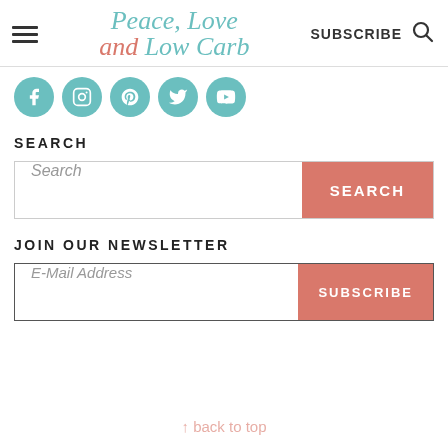Peace, Love and Low Carb — SUBSCRIBE
[Figure (infographic): Social media icons row: Facebook, Instagram, Pinterest, Twitter, YouTube — teal circles with white icons]
SEARCH
[Figure (screenshot): Search input box with italic placeholder 'Search' and a coral/red SEARCH button]
JOIN OUR NEWSLETTER
[Figure (screenshot): Email input box with italic placeholder 'E-Mail Address' and a coral/red SUBSCRIBE button]
↑ back to top